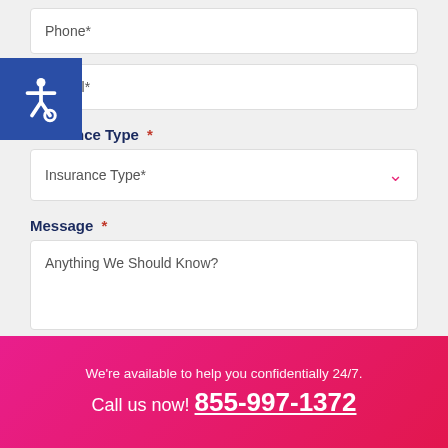Phone*
E-Mail*
Insurance Type *
Insurance Type*
Message *
Anything We Should Know?
[Figure (logo): Blue square accessibility icon with white wheelchair symbol]
We're available to help you confidentially 24/7.
Call us now! 855-997-1372